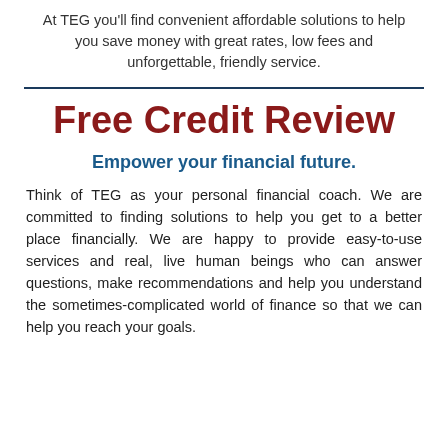At TEG you'll find convenient affordable solutions to help you save money with great rates, low fees and unforgettable, friendly service.
Free Credit Review
Empower your financial future.
Think of TEG as your personal financial coach. We are committed to finding solutions to help you get to a better place financially. We are happy to provide easy-to-use services and real, live human beings who can answer questions, make recommendations and help you understand the sometimes-complicated world of finance so that we can help you reach your goals.